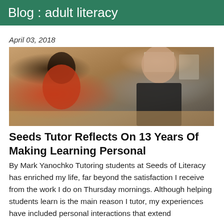Blog : adult literacy
April 03, 2018
[Figure (photo): Two people at a table in a classroom setting. A woman with dreadlocks and glasses wearing a red patterned scarf/top holds a pen, and a man in a black shirt sits across from her.]
Seeds Tutor Reflects On 13 Years Of Making Learning Personal
By Mark Yanochko Tutoring students at Seeds of Literacy has enriched my life, far beyond the satisfaction I receive from the work I do on Thursday mornings. Although helping students learn is the main reason I tutor, my experiences have included personal interactions that extend